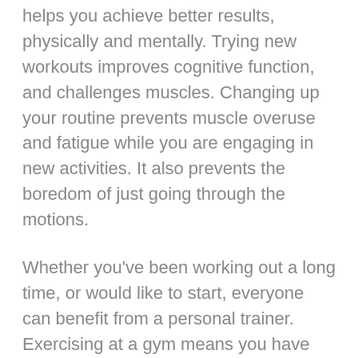helps you achieve better results, physically and mentally. Trying new workouts improves cognitive function, and challenges muscles. Changing up your routine prevents muscle overuse and fatigue while you are engaging in new activities. It also prevents the boredom of just going through the motions.
Whether you've been working out a long time, or would like to start, everyone can benefit from a personal trainer. Exercising at a gym means you have access to more equipment, and the potential for more varied workouts. If you're bored of the same dull routine every day, mix it up by hiring a personal trainer. They keep you motivated and accountable. Personal trainers keep up the energy and make every workout more fun. Before you start, they will help you plan so you can make your entire lifestyle healthier. There are no more excuses, just results. Changing up your routines and making them more challenging builds